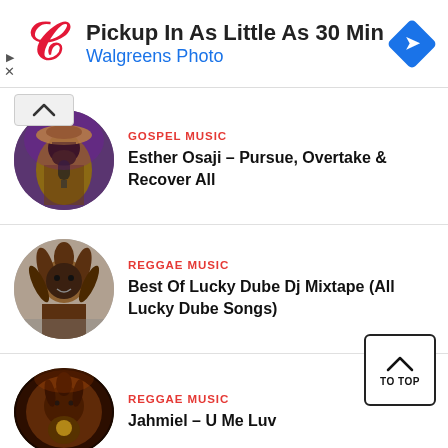[Figure (infographic): Walgreens Photo advertisement banner with Walgreens logo, text 'Pickup In As Little As 30 Min' and 'Walgreens Photo', and a blue navigation diamond icon]
GOSPEL MUSIC
Esther Osaji – Pursue, Overtake & Recover All
REGGAE MUSIC
Best Of Lucky Dube Dj Mixtape (All Lucky Dube Songs)
REGGAE MUSIC
Jahmiel – U Me Luv
HIGHLIFE MUSIC